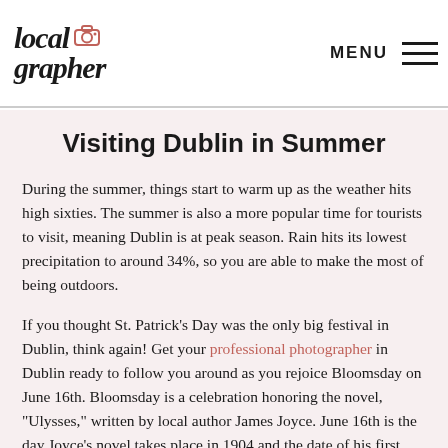Localgrapher | MENU
Visiting Dublin in Summer
During the summer, things start to warm up as the weather hits high sixties. The summer is also a more popular time for tourists to visit, meaning Dublin is at peak season. Rain hits its lowest precipitation to around 34%, so you are able to make the most of being outdoors.
If you thought St. Patrick’s Day was the only big festival in Dublin, think again! Get your professional photographer in Dublin ready to follow you around as you rejoice Bloomsday on June 16th. Bloomsday is a celebration honoring the novel, “Ulysses,” written by local author James Joyce. June 16th is the day Joyce’s novel takes place in 1904 and the date of his first outing with his